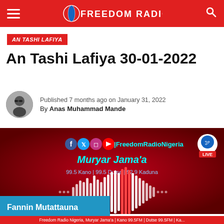Freedom Radio Nigeria
AN TASHI LAFIYA
An Tashi Lafiya 30-01-2022
Published 7 months ago on January 31, 2022
By Anas Muhammad Mande
[Figure (screenshot): Freedom Radio Nigeria audio player graphic on dark red background with social media icons (Facebook, Twitter, Instagram, YouTube), FreedomRadioNigeria text, Muryar Jama'a label, frequencies 99.5 Kano | 99.5 Dutse | 92.9 Kaduna, audio waveform visualization, and LIVE badge.]
Fannin Mutattauna
Freedom Radio Nigeria, Muryar Jama'a | Kano 99.5FM | Dutse 99.5FM | Ka...